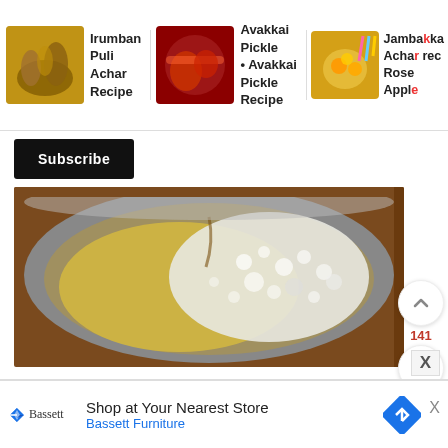[Figure (screenshot): Navigation bar with recipe thumbnails: Irumban Puli Achar Recipe, Avakkai Pickle Avakkai Pickle Recipe, Jambakka Achar Recipe Rose Apple]
Irumban Puli Achar Recipe
Avakkai Pickle • Avakkai Pickle Recipe
Jambakka Achar Recipe Rose Apple
[Figure (photo): Subscribe button - black rectangle with white bold text]
[Figure (photo): Top-down view of a steel pot containing oil and white foamy bubbles, placed on a wooden surface]
141
10)Add a pinch of asafoetida.
[Figure (screenshot): Advertisement banner: Bassett - Shop at Your Nearest Store, Bassett Furniture with blue navigation arrow diamond icon]